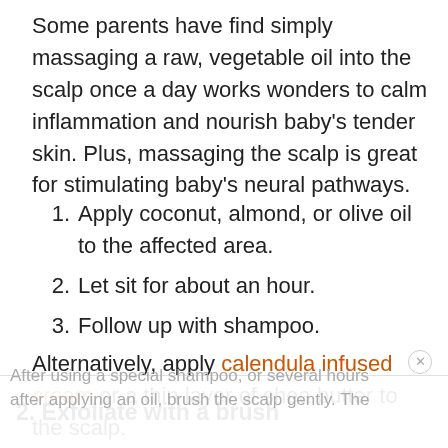Some parents have find simply massaging a raw, vegetable oil into the scalp once a day works wonders to calm inflammation and nourish baby's tender skin. Plus, massaging the scalp is great for stimulating baby's neural pathways.
Apply coconut, almond, or olive oil to the affected area.
Let sit for about an hour.
Follow up with shampoo.
Alternatively, apply calendula infused cream or a thin layer of shea butter to the scalp.
2. Exfoliate with a brush
After using a special shampoo, or several hours after applying an oil, brush the scalp gently. The